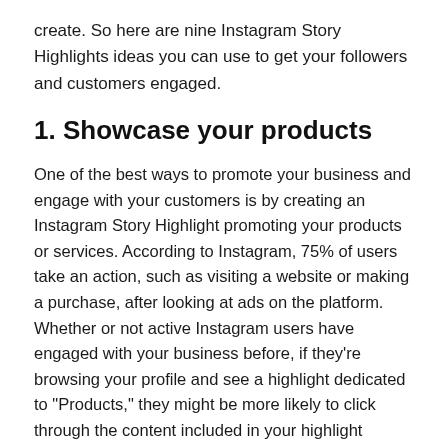create. So here are nine Instagram Story Highlights ideas you can use to get your followers and customers engaged.
1. Showcase your products
One of the best ways to promote your business and engage with your customers is by creating an Instagram Story Highlight promoting your products or services. According to Instagram, 75% of users take an action, such as visiting a website or making a purchase, after looking at ads on the platform. Whether or not active Instagram users have engaged with your business before, if they’re browsing your profile and see a highlight dedicated to “Products,” they might be more likely to click through the content included in your highlight versus scrolling through your entire feed. Your highlight will be an easier and faster way to find information about your offerings, and you can direct customers to your website, to sign up for a newsletter, or, ideally, to make a purchase via Instagram. By tagging products in your highlights with the